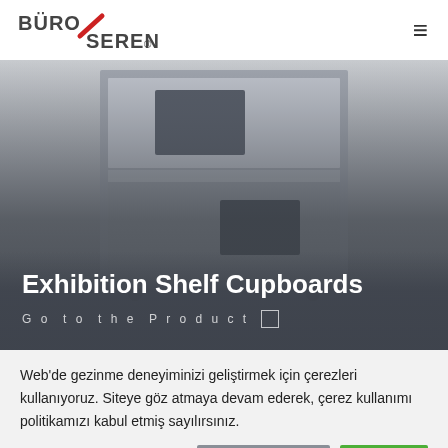[Figure (logo): Büro Seren logo with red diagonal stripe and registered trademark symbol]
[Figure (photo): Exhibition shelf cupboard product photo showing a grey modular office storage unit with shelves and compartments, overlaid with white text title and link]
Exhibition Shelf Cupboards
Go to the Product
Web'de gezinme deneyiminizi geliştirmek için çerezleri kullanıyoruz. Siteye göz atmaya devam ederek, çerez kullanımı politikamızı kabul etmiş sayılırsınız.
Gizlilik Politikası
Tamam